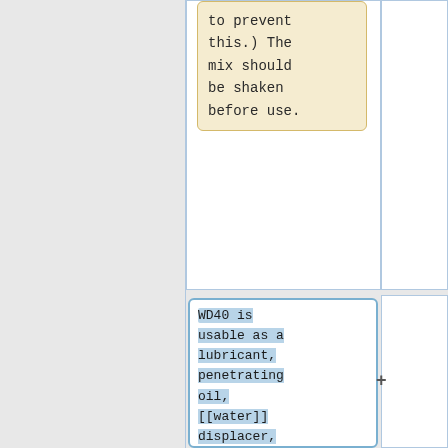this.) The mix should be shaken before use.
WD40 is usable as a lubricant, penetrating oil, [[water]] displacer, rustproofer, [[cleaning]] solvent, and even as a cocaine use preventer according to the manufacturer